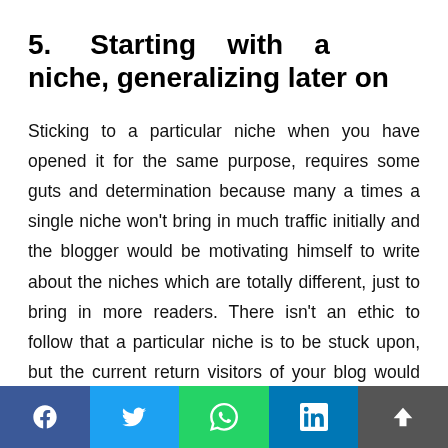5.   Starting   with   a   niche, generalizing later on
Sticking to a particular niche when you have opened it for the same purpose, requires some guts and determination because many a times a single niche won't bring in much traffic initially and the blogger would be motivating himself to write about the niches which are totally different, just to bring in more readers. There isn't an ethic to follow that a particular niche is to be stuck upon, but the current return visitors of your blog would never like it when they get to read something entirely different than the regular trend on the blog. Imagine yourself finding a story about football on a health blog, that's what your readers might feel too.